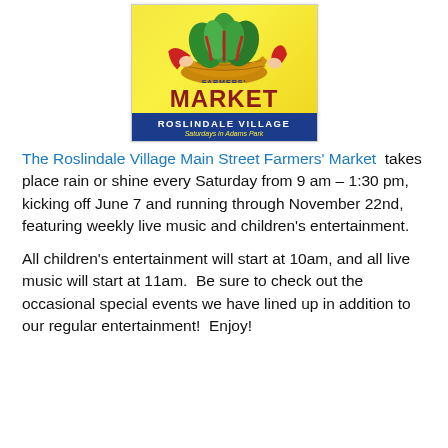[Figure (logo): Farmers' Market Roslindale Village logo — woman holding basket of produce on yellow background with blue banner reading 'ROSLINDALE VILLAGE Saturdays in Adams Park']
The Roslindale Village Main Street Farmers' Market takes place rain or shine every Saturday from 9 am – 1:30 pm, kicking off June 7 and running through November 22nd, featuring weekly live music and children's entertainment.
All children's entertainment will start at 10am, and all live music will start at 11am.  Be sure to check out the occasional special events we have lined up in addition to our regular entertainment!  Enjoy!